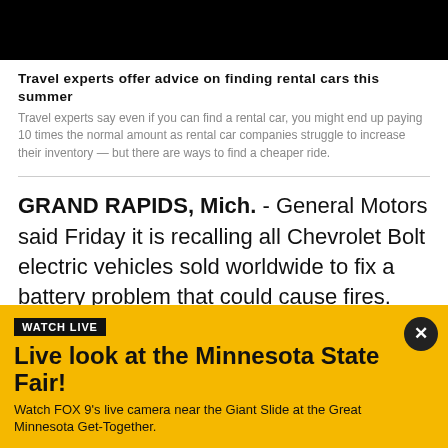[Figure (photo): Black banner image at top of page]
Travel experts offer advice on finding rental cars this summer
Travel experts say even if you can find a rental car, you might end up paying 10 times the normal amount as rental car companies struggle to increase their inventory — but there are ways to find a cheaper ride.
GRAND RAPIDS, Mich. - General Motors said Friday it is recalling all Chevrolet Bolt electric vehicles sold worldwide to fix a battery problem that could cause fires.
The recall raises questions about lithium ion batteries,
WATCH LIVE
Live look at the Minnesota State Fair!
Watch FOX 9's live camera near the Giant Slide at the Great Minnesota Get-Together.